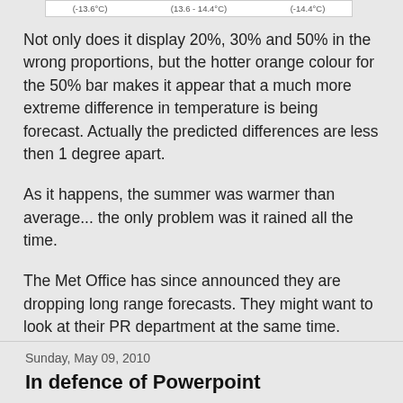| (-13.6°C) | (13.6 - 14.4°C) | (-14.4°C) |
| --- | --- | --- |
Not only does it display 20%, 30% and 50% in the wrong proportions, but the hotter orange colour for the 50% bar makes it appear that a much more extreme difference in temperature is being forecast. Actually the predicted differences are less then 1 degree apart.
As it happens, the summer was warmer than average... the only problem was it rained all the time.
The Met Office has since announced they are dropping long range forecasts. They might want to look at their PR department at the same time.
Share
Sunday, May 09, 2010
In defence of Powerpoint